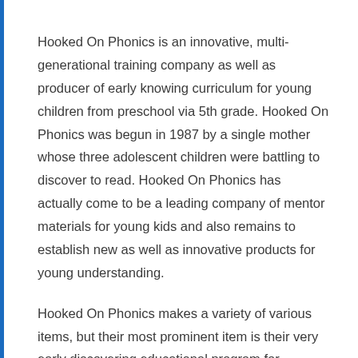Hooked On Phonics is an innovative, multi-generational training company as well as producer of early knowing curriculum for young children from preschool via 5th grade. Hooked On Phonics was begun in 1987 by a single mother whose three adolescent children were battling to discover to read. Hooked On Phonics has actually come to be a leading company of mentor materials for young kids and also remains to establish new as well as innovative products for young understanding.
Hooked On Phonics makes a variety of various items, but their most prominent item is their very early discovering educational program for preschool via 5th grade. Their very early knowing educational program is available in numerous levels of problem, so parents and also instructors can produce an easy knowing educational program for young children or a more challenging one for older youngsters. Hooked On Phonics likewise supplies